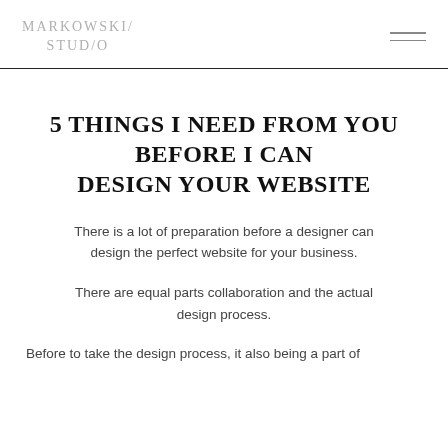MARKOWSKI/ STUDIO
5 THINGS I NEED FROM YOU BEFORE I CAN DESIGN YOUR WEBSITE
There is a lot of preparation before a designer can design the perfect website for your business.
There are equal parts collaboration and the actual design process.
Before to take the design process, it also being a part of